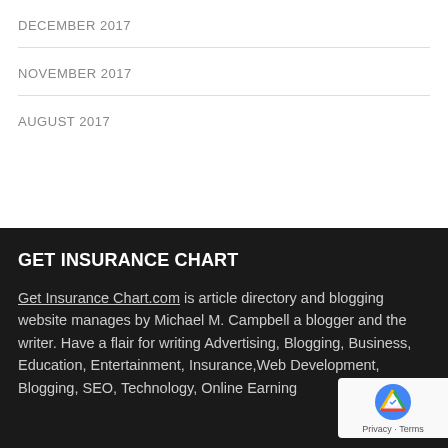DECEMBER 2017
NOVEMBER 2017
AUGUST 2017
GET INSURANCE CHART
Get Insurance Chart.com is article directory and blogging website manages by Michael M. Campbell a blogger and the writer. Have a flair for writing Advertising, Blogging, Business, Education, Entertainment, Insurance,Web Development, Blogging, SEO, Technology, Online Earning